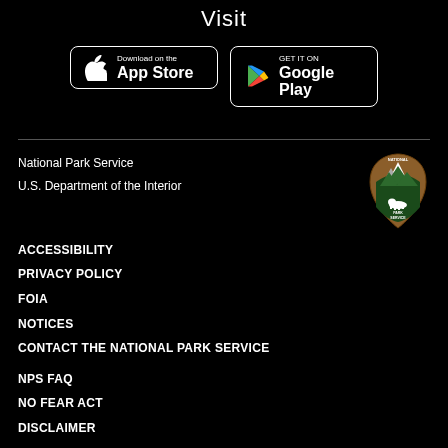Visit
[Figure (logo): Download on the App Store button]
[Figure (logo): Get it on Google Play button]
National Park Service
U.S. Department of the Interior
[Figure (logo): National Park Service arrowhead badge logo]
ACCESSIBILITY
PRIVACY POLICY
FOIA
NOTICES
CONTACT THE NATIONAL PARK SERVICE
NPS FAQ
NO FEAR ACT
DISCLAIMER
VULNERABILITY DISCLOSURE POLICY